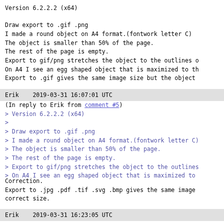Version 6.2.2.2 (x64)

Draw export to .gif .png
I made a round object on A4 format.(fontwork letter C)
The object is smaller than 50% of the page.
The rest of the page is empty.
Export to gif/png stretches the object to the outlines o
On A4 I see an egg shaped object that is maximized to th
Export to .gif gives the same image size but the object
Erik    2019-03-31 16:07:01 UTC
(In reply to Erik from comment #5)
> Version 6.2.2.2 (x64)
>
> Draw export to .gif .png
> I made a round object on A4 format.(fontwork letter C)
> The object is smaller than 50% of the page.
> The rest of the page is empty.
> Export to gif/png stretches the object to the outlines
> On A4 I see an egg shaped object that is maximized to
Correction.
Export to .jpg .pdf .tif .svg .bmp gives the same image
correct size.
Erik    2019-03-31 16:23:05 UTC